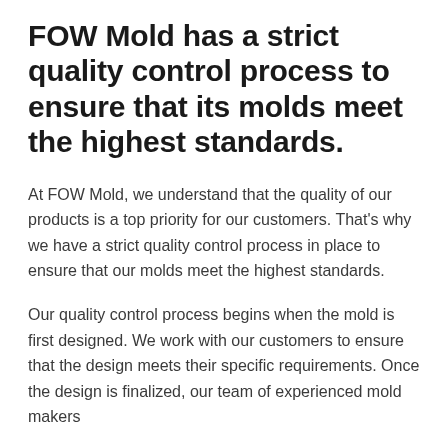FOW Mold has a strict quality control process to ensure that its molds meet the highest standards.
At FOW Mold, we understand that the quality of our products is a top priority for our customers. That's why we have a strict quality control process in place to ensure that our molds meet the highest standards.
Our quality control process begins when the mold is first designed. We work with our customers to ensure that the design meets their specific requirements. Once the design is finalized, our team of experienced mold makers